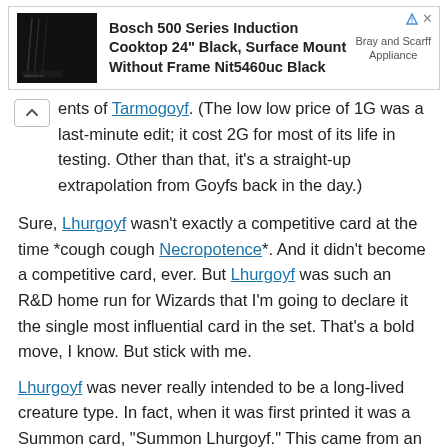[Figure (other): Advertisement banner for Bosch 500 Series Induction Cooktop 24" Black, Surface Mount Without Frame Nit5460uc Black by Bray and Scarff Appliance]
ents of Tarmogoyf. (The low low price of 1G was a last-minute edit; it cost 2G for most of its life in testing. Other than that, it's a straight-up extrapolation from Goyfs back in the day.)
Sure, Lhurgoyf wasn't exactly a competitive card at the time *cough cough Necropotence*. And it didn't become a competitive card, ever. But Lhurgoyf was such an R&D home run for Wizards that I'm going to declare it the single most influential card in the set. That's a bold move, I know. But stick with me.
Lhurgoyf was never really intended to be a long-lived creature type. In fact, when it was first printed it was a Summon card, "Summon Lhurgoyf." This came from an era when we still